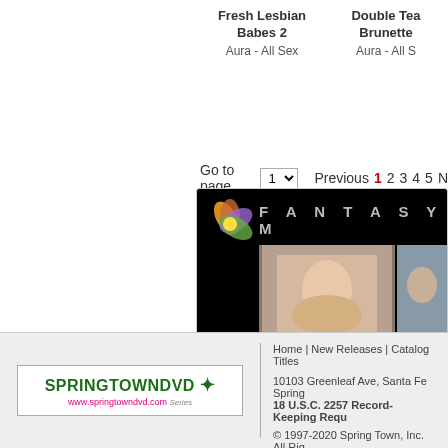Fresh Lesbian Babes 2
Aura - All Sex
Double Tea Brunette
Aura - All S
Go to page  1  Previous 1 2 3 4 5 N
[Figure (photo): Fantasy Massage website banner with logo and photos]
[Figure (logo): SpringTownDVD logo with www.springtowndvd.com]
Home | New Releases | Catalog Titles
10103 Greenleaf Ave, Santa Fe Springs
18 U.S.C. 2257 Record-Keeping Requ
© 1997-2020 Spring Town, Inc. All Rig